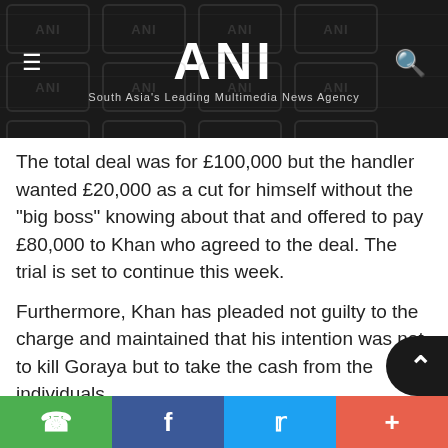ANI — South Asia's Leading Multimedia News Agency
The total deal was for £100,000 but the handler wanted £20,000 as a cut for himself without the "big boss" knowing about that and offered to pay £80,000 to Khan who agreed to the deal. The trial is set to continue this week.
Furthermore, Khan has pleaded not guilty to the charge and maintained that his intention was not to kill Goraya but to take the cash from the individuals